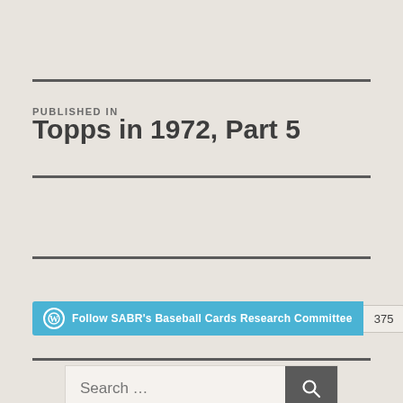PUBLISHED IN
Topps in 1972, Part 5
[Figure (other): WordPress Follow button widget for SABR's Baseball Cards Research Committee with follower count 375]
Search ...